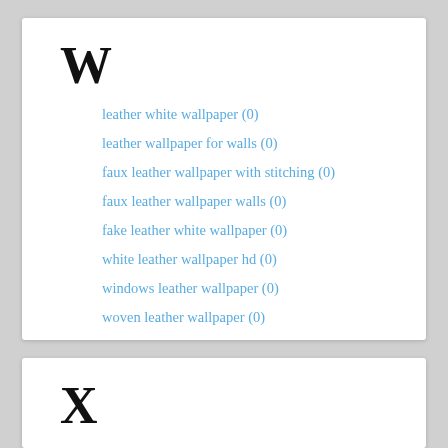W
leather white wallpaper (0)
leather wallpaper for walls (0)
faux leather wallpaper with stitching (0)
faux leather wallpaper walls (0)
fake leather white wallpaper (0)
white leather wallpaper hd (0)
windows leather wallpaper (0)
woven leather wallpaper (0)
X
leather wallpaper iphone x (0)